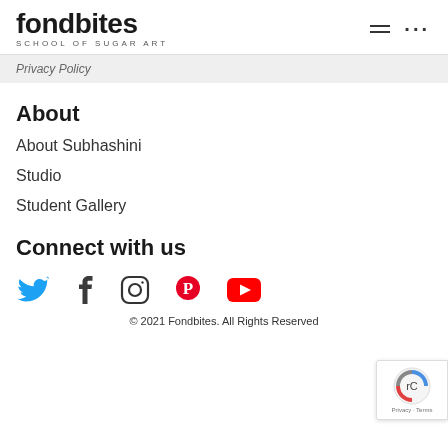fondbites SCHOOL OF SUGAR ART
Privacy Policy
About
About Subhashini
Studio
Student Gallery
Connect with us
[Figure (infographic): Social media icons: Twitter (blue bird), Facebook (dark f), Instagram (outline camera), Pinterest (red P), YouTube (red play button)]
© 2021 Fondbites. All Rights Reserved